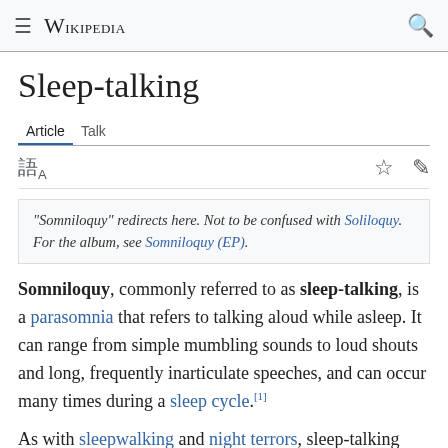Wikipedia
Sleep-talking
Article  Talk
"Somniloquy" redirects here. Not to be confused with Soliloquy. For the album, see Somniloquy (EP).
Somniloquy, commonly referred to as sleep-talking, is a parasomnia that refers to talking aloud while asleep. It can range from simple mumbling sounds to loud shouts and long, frequently inarticulate speeches, and can occur many times during a sleep cycle.[1]
As with sleepwalking and night terrors, sleep-talking usually occurs during delta wave NREM sleep stages or